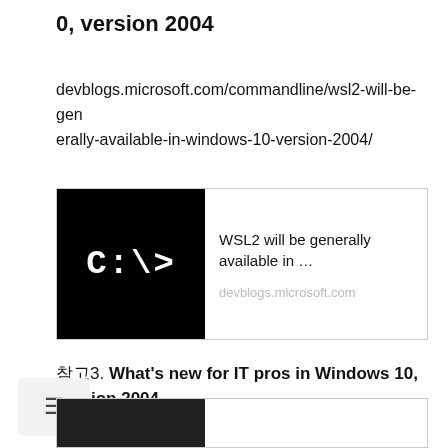0, version 2004
devblogs.microsoft.com/commandline/wsl2-will-be-generally-available-in-windows-10-version-2004/
[Figure (screenshot): Link preview card showing a black terminal icon with 'C:\>' text, title 'WSL2 will be generally available in ...', and domain 'devblogs.microsoft.com']
참고3. What's new for IT pros in Windows 10, version 2004
techcommunity.microsoft.com/t5/windows-it-pro-blog/what-s-new-for-it-pros-in-windows-10-version-2004/ba-p/1419764#wsl